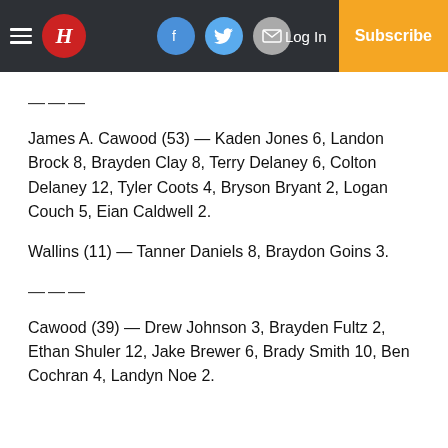H [Herald logo] — Facebook, Twitter, Mail icons — Log In — Subscribe
———
James A. Cawood (53) — Kaden Jones 6, Landon Brock 8, Brayden Clay 8, Terry Delaney 6, Colton Delaney 12, Tyler Coots 4, Bryson Bryant 2, Logan Couch 5, Eian Caldwell 2.
Wallins (11) — Tanner Daniels 8, Braydon Goins 3.
———
Cawood (39) — Drew Johnson 3, Brayden Fultz 2, Ethan Shuler 12, Jake Brewer 6, Brady Smith 10, Ben Cochran 4, Landyn Noe 2.